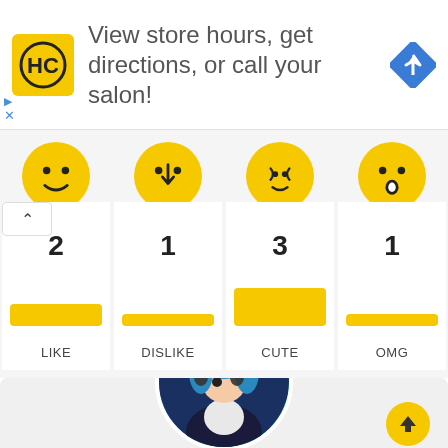[Figure (infographic): Advertisement banner: HC logo (yellow square with HC text), text 'View store hours, get directions, or call your salon!', blue navigation diamond icon, small triangle and X close icons]
[Figure (infographic): Reaction row with 4 emoji cards: LIKE=2, DISLIKE=1, CUTE=3, OMG=1, each with yellow emoji face, count number, yellow bar, and label. Up-arrow chevron collapse button on left.]
[Figure (illustration): Circular anime character avatar with blue hair and headphones, teal/dark background. Yellow scroll-to-top circular button with up arrow in bottom right.]